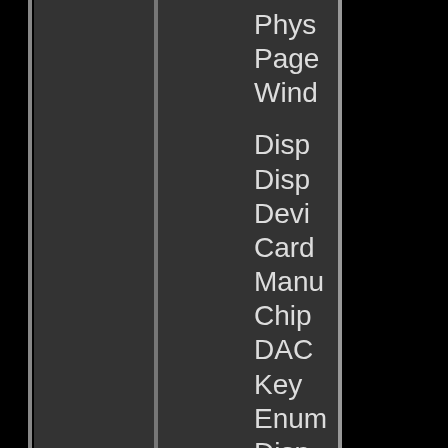[Figure (screenshot): Dark UI screenshot showing vertical stripe panels on the left side and a partially visible menu list on the right with items: Phys, Page, Wind, Disp, Disp, Devi, Card, Manu, Chip, DAC, Key, Enum, Disp, Curr, Moni, Moni, Drive (all truncated)]
Phys
Page
Wind
Disp
Disp
Devi
Card
Manu
Chip
DAC
Key
Enum
Disp
Curr
Moni
Moni
Drive